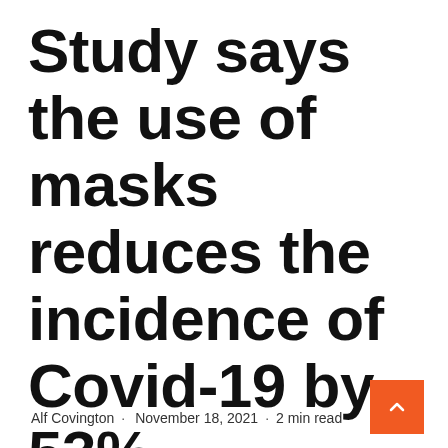Study says the use of masks reduces the incidence of Covid-19 by 53%
Alf Covington · November 18, 2021 · 2 min read